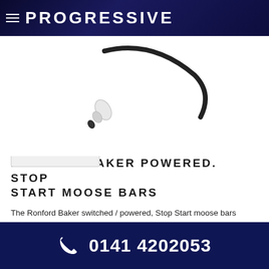PROGRESSIVE
[Figure (photo): A camera cable with a white connector on one end, curving against a white background, partially visible at the top of the page.]
RONFORD BAKER POWERED. STOP START MOOSE BARS
The Ronford Baker switched / powered, Stop Start moose bars provide trigger operation for all Arri, Red and Sony cameras.
SKU: MOOSE RONFORD Categories: Grip, Handgrips, Handheld, Ronford, Ronford, Ronford
0141 4202053